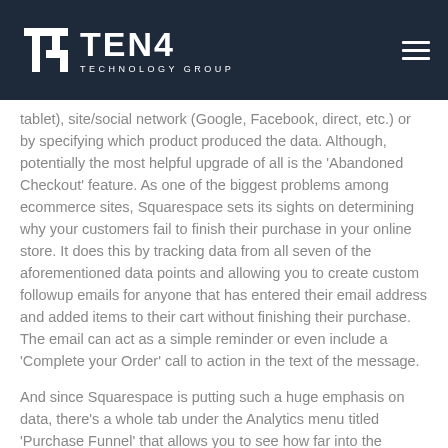TEN4 TECHNOLOGY GROUP
tablet), site/social network (Google, Facebook, direct, etc.) or by specifying which product produced the data. Although, potentially the most helpful upgrade of all is the ‘Abandoned Checkout’ feature. As one of the biggest problems among ecommerce sites, Squarespace sets its sights on determining why your customers fail to finish their purchase in your online store. It does this by tracking data from all seven of the aforementioned data points and allowing you to create custom followup emails for anyone that has entered their email address and added items to their cart without finishing their purchase. The email can act as a simple reminder or even include a ‘Complete your Order’ call to action in the text of the message.
And since Squarespace is putting such a huge emphasis on data, there’s a whole tab under the Analytics menu titled ‘Purchase Funnel’ that allows you to see how far into the